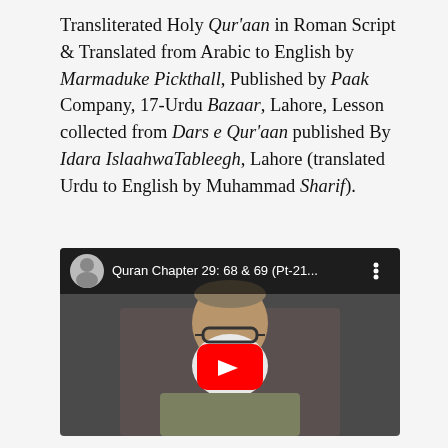Transliterated Holy Qur'aan in Roman Script & Translated from Arabic to English by Marmaduke Pickthall, Published by Paak Company, 17-Urdu Bazaar, Lahore, Lesson collected from Dars e Qur'aan published By Idara IslaahwaTableegh, Lahore (translated Urdu to English by Muhammad Sharif).
[Figure (screenshot): YouTube video thumbnail showing an elderly bearded man with glasses and a cap, seated. Video title bar reads: Quran Chapter 29: 68 & 69 (Pt-21... with a red YouTube play button overlay.]